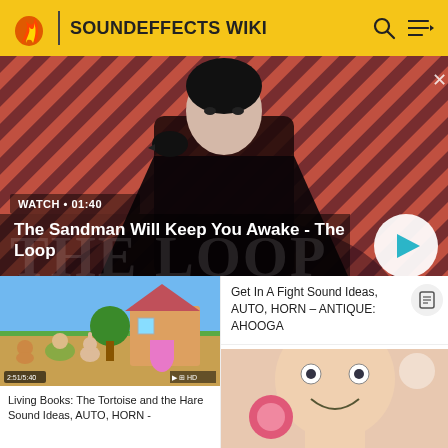SOUNDEFFECTS WIKI
[Figure (screenshot): Hero banner showing The Sandman character (pale man in black coat with raven) against red and black diagonal stripe background. Duration label: WATCH • 01:40. Title: The Sandman Will Keep You Awake - The Loop. Play button circle in bottom right.]
[Figure (screenshot): Thumbnail of animated cartoon: Living Books - The Tortoise and the Hare, showing cartoon animal characters outside a house.]
Living Books: The Tortoise and the Hare Sound Ideas, AUTO, HORN -
Get In A Fight Sound Ideas, AUTO, HORN - ANTIQUE: AHOOGA
[Figure (screenshot): Thumbnail of animated scene, appears to show cartoon character close-up.]